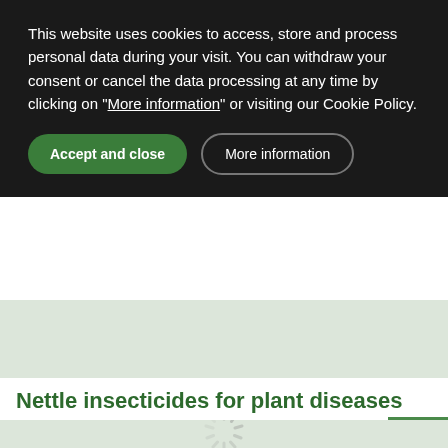This website uses cookies to access, store and process personal data during your visit. You can withdraw your consent or cancel the data processing at any time by clicking on "More information" or visiting our Cookie Policy.
[Figure (map): A light green/gray map placeholder with a loading spinner icon in the center]
Nettle insecticides for plant diseases